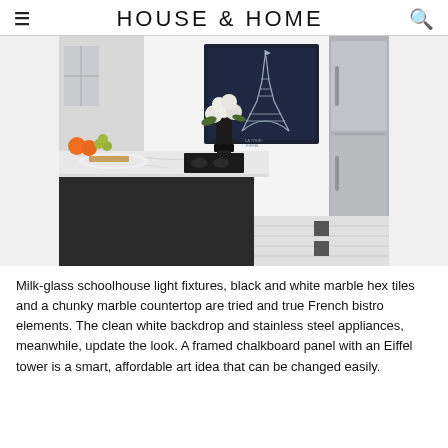HOUSE & HOME
[Figure (photo): Interior kitchen photo showing a black kitchen island with white marble countertop, a floral arrangement in a black urn, fruits, and a stainless steel refrigerator. On the wall hangs a dark navy framed chalkboard art print of the Eiffel Tower. The floor has black and white marble hex tiles.]
Milk-glass schoolhouse light fixtures, black and white marble hex tiles and a chunky marble countertop are tried and true French bistro elements. The clean white backdrop and stainless steel appliances, meanwhile, update the look. A framed chalkboard panel with an Eiffel tower is a smart, affordable art idea that can be changed easily.